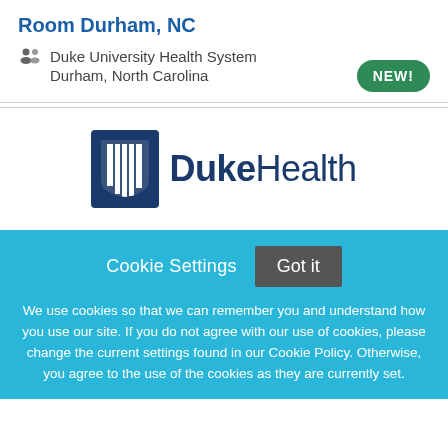Room Durham, NC
Duke University Health System
Durham, North Carolina
[Figure (logo): DukeHealth logo with blue shield icon and DukeHealth text]
Cookie Settings  Got it
We use cookies so that we can remember you and understand how you use our site. If you do not agree with our use of cookies, please change the current settings found in our Cookie Policy. Otherwise, you agree to the use of the cookies as they are currently set.